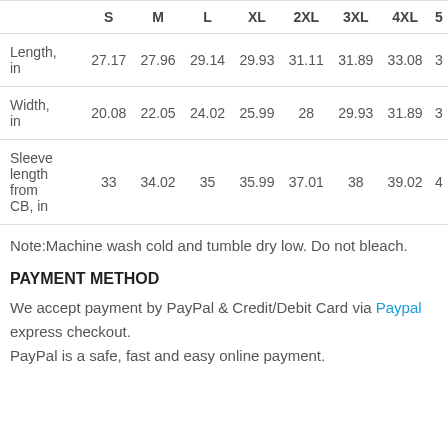|  | S | M | L | XL | 2XL | 3XL | 4XL | 5... |
| --- | --- | --- | --- | --- | --- | --- | --- | --- |
| Length, in | 27.17 | 27.96 | 29.14 | 29.93 | 31.11 | 31.89 | 33.08 | 3 |
| Width, in | 20.08 | 22.05 | 24.02 | 25.99 | 28 | 29.93 | 31.89 | 3 |
| Sleeve length from CB, in | 33 | 34.02 | 35 | 35.99 | 37.01 | 38 | 39.02 | 4 |
Note:Machine wash cold and tumble dry low. Do not bleach.
PAYMENT METHOD
We accept payment by PayPal & Credit/Debit Card via Paypal express checkout.
PayPal is a safe, fast and easy online payment.